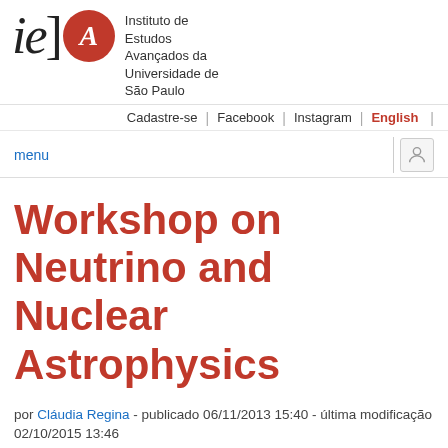[Figure (logo): IEA-USP logo with 'ie]' text, red circle with letter A, and institution name Instituto de Estudos Avançados da Universidade de São Paulo]
Cadastre-se | Facebook | Instagram | English
menu
Workshop on Neutrino and Nuclear Astrophysics
por Cláudia Regina - publicado 06/11/2013 15:40 - última modificação 02/10/2015 13:46
| Detalhes do evento |
| --- |
| Quando | de | 14/04/2014 - 08:00 |